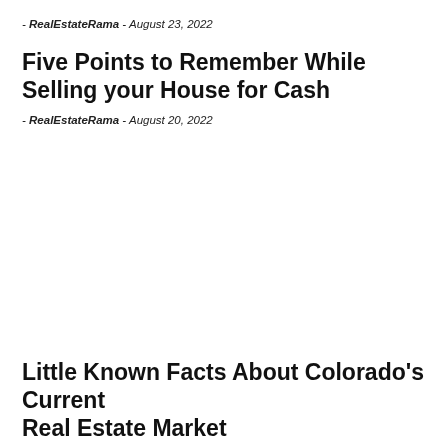- RealEstateRama - August 23, 2022
Five Points to Remember While Selling your House for Cash
- RealEstateRama - August 20, 2022
Little Known Facts About Colorado's Current Real Estate Market